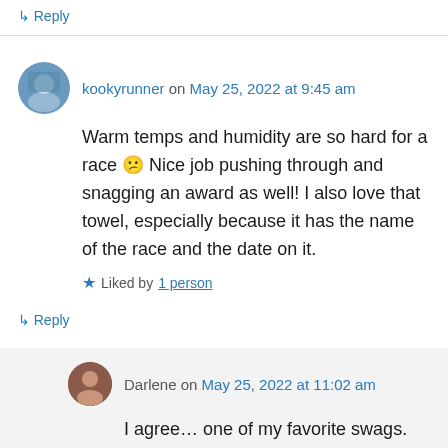↳ Reply
kookyrunner on May 25, 2022 at 9:45 am
Warm temps and humidity are so hard for a race 🙁 Nice job pushing through and snagging an award as well! I also love that towel, especially because it has the name of the race and the date on it.
Liked by 1 person
↳ Reply
Darlene on May 25, 2022 at 11:02 am
I agree… one of my favorite swags.